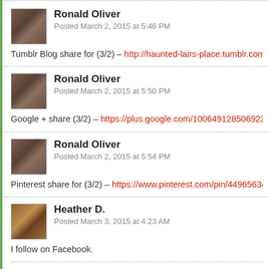Ronald Oliver
Posted March 2, 2015 at 5:46 PM
Tumblr Blog share for (3/2) – http://haunted-lairs-place.tumblr.com/post/112525...
Ronald Oliver
Posted March 2, 2015 at 5:50 PM
Google + share (3/2) – https://plus.google.com/100649128506923089721/post...
Ronald Oliver
Posted March 2, 2015 at 5:54 PM
Pinterest share for (3/2) – https://www.pinterest.com/pin/449656344021525771...
Heather D.
Posted March 3, 2015 at 4:23 AM
I follow on Facebook.